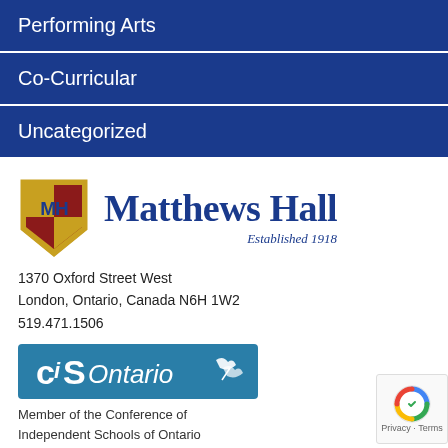Performing Arts
Co-Curricular
Uncategorized
[Figure (logo): Matthews Hall school shield logo and wordmark with 'Established 1918']
1370 Oxford Street West
London, Ontario, Canada N6H 1W2
519.471.1506
[Figure (logo): CIS Ontario logo banner - Conference of Independent Schools of Ontario]
Member of the Conference of Independent Schools of Ontario